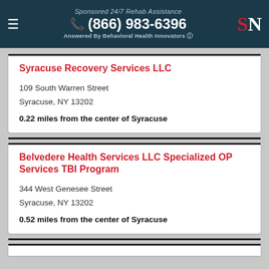Sponsored 24/7 Rehab Assistance (866) 983-6396 Answered By Behavioral Health Innovators
Syracuse Recovery Services LLC
109 South Warren Street
Syracuse, NY 13202
0.22 miles from the center of Syracuse
Belvedere Health Services LLC Specialized OP Services TBI Program
344 West Genesee Street
Syracuse, NY 13202
0.52 miles from the center of Syracuse